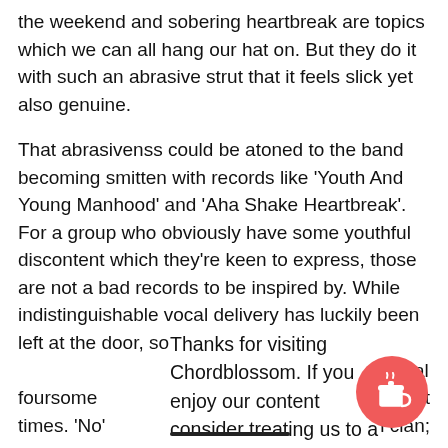the weekend and sobering heartbreak are topics which we can all hang our hat on. But they do it with such an abrasive strut that it feels slick yet also genuine.

That abrasivenss could be atoned to the band becoming smitten with records like 'Youth And Young Manhood' and 'Aha Shake Heartbreak'. For a group who obviously have some youthful discontent which they're keen to express, those are not a bad records to be inspired by. While indistinguishable vocal delivery has luckily been left at the door, some... Donegal foursome ...; in recent times. 'No' ...llowill clan;
Thanks for visiting Chordblossom. If you enjoy our content consider treating us to a coffee.
This web... ience. We'll assume ... if y...